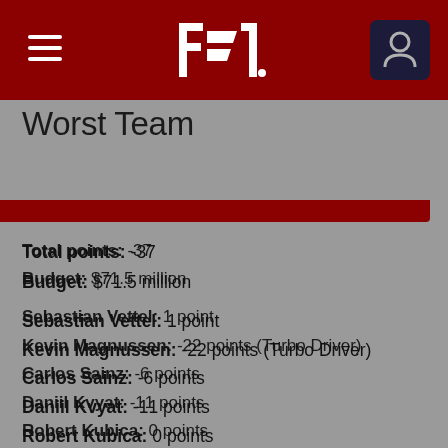F1 header with hamburger menu, F1 logo, and user icon
Worst Team
Total points: -37
Budget: $71.5 million
Sebastian Vettel: 1 point
Kevin Magnussen: -22 points (Turbo Driver)
Carlos Sainz: -6 points
Daniil Kvyat: -11 points
Robert Kubica: 0 points
Constructor: Haas – 1 point
Contrasting fortunes don't get much more contrast-y than Leclerc and Vettel's weekends in Monza, Seb